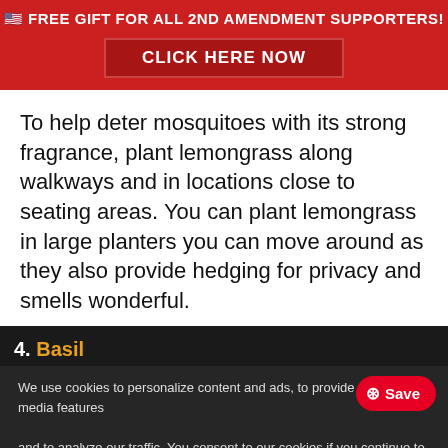🇺🇸 FREE GIFT FOR ALL 2ND AMENDMENT SUPPORTERS!
CLICK HERE NOW
To help deter mosquitoes with its strong fragrance, plant lemongrass along walkways and in locations close to seating areas. You can plant lemongrass in large planters you can move around as they also provide hedging for privacy and smells wonderful.
4. Basil
We use cookies to personalize content and ads, to provide social media features and to analyze our traffic. You consent to our cookies if you continue to use our website.
Accept